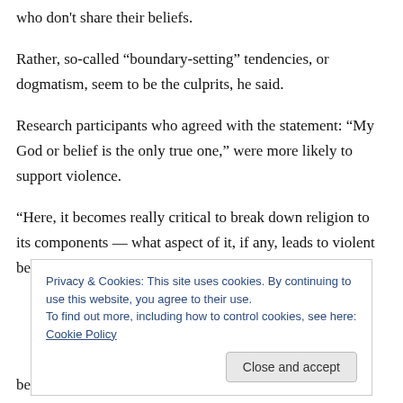who don't share their beliefs.
Rather, so-called “boundary-setting” tendencies, or dogmatism, seem to be the culprits, he said.
Research participants who agreed with the statement: “My God or belief is the only true one,” were more likely to support violence.
“Here, it becomes really critical to break down religion to its components — what aspect of it, if any, leads to violent behaviours,” he said.
Privacy & Cookies: This site uses cookies. By continuing to use this website, you agree to their use.
To find out more, including how to control cookies, see here: Cookie Policy
behaviours in some of the name of God...